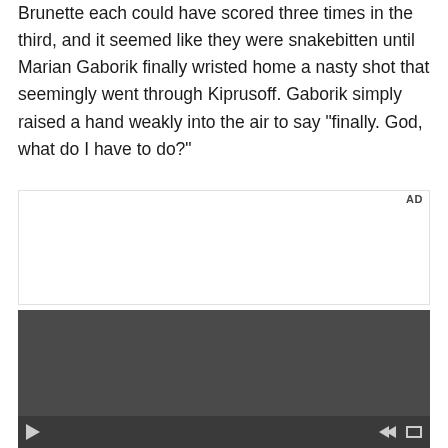Brunette each could have scored three times in the third, and it seemed like they were snakebitten until Marian Gaborik finally wristed home a nasty shot that seemingly went through Kiprusoff. Gaborik simply raised a hand weakly into the air to say "finally. God, what do I have to do?"
[Figure (other): Advertisement placeholder box with 'AD' label in upper right corner]
[Figure (other): Video player with dark gray background and playback controls at the bottom including play button, previous/next navigation arrows, and fullscreen button]